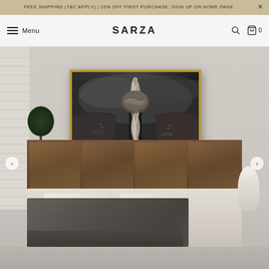FREE SHIPPING (T&C APPLY) | 10% OFF FIRST PURCHASE: SIGN UP ON HOME PAGE
Menu  SARZA  🔍  🛍 0
[Figure (photo): E-commerce product page for SARZA showing a framed black and white photograph of a boat bow and rope hanging on a bedroom wall above a bed with dark blanket, white vases, and a potted plant]